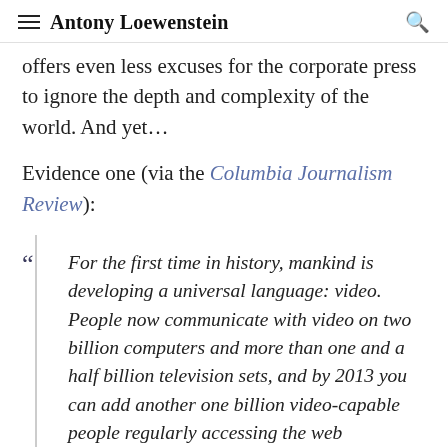Antony Loewenstein
offers even less excuses for the corporate press to ignore the depth and complexity of the world. And yet…
Evidence one (via the Columbia Journalism Review):
For the first time in history, mankind is developing a universal language: video. People now communicate with video on two billion computers and more than one and a half billion television sets, and by 2013 you can add another one billion video-capable people regularly accessing the web